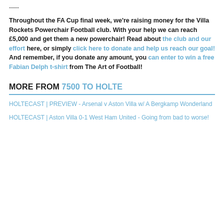-----
Throughout the FA Cup final week, we're raising money for the Villa Rockets Powerchair Football club. With your help we can reach £5,000 and get them a new powerchair! Read about the club and our effort here, or simply click here to donate and help us reach our goal! And remember, if you donate any amount, you can enter to win a free Fabian Delph t-shirt from The Art of Football!
MORE FROM 7500 TO HOLTE
HOLTECAST | PREVIEW - Arsenal v Aston Villa w/ A Bergkamp Wonderland
HOLTECAST | Aston Villa 0-1 West Ham United - Going from bad to worse!